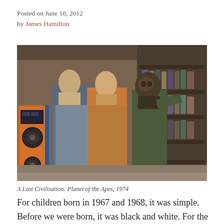Posted on June 18, 2012
by James Hamilton
[Figure (photo): Scene from Planet of the Apes TV series (1974) showing two human characters and an ape character in what appears to be an archive or records room with an orange computer/tape reel machine visible on the left.]
A Lost Civilisation: Planet of the Apes, 1974
For children born in 1967 and 1968, it was simple. Before we were born, it was black and white. For the whole of our life, it’s been colour. Colour television, colour